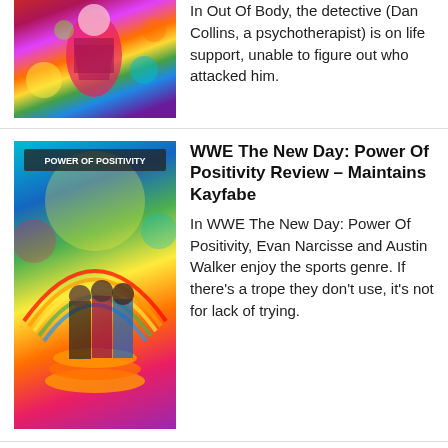[Figure (photo): Colorful illustrated image with a figure in a pink/magenta outfit against a vibrant multicolored background]
In Out Of Body, the detective (Dan Collins, a psychotherapist) is on life support, unable to figure out who attacked him.
[Figure (photo): WWE New Day: Power Of Positivity comic book cover showing three wrestlers in colorful outfits against a psychedelic rainbow background with 'POWER OF POSITIVITY' text]
WWE The New Day: Power Of Positivity Review – Maintains Kayfabe
In WWE The New Day: Power Of Positivity, Evan Narcisse and Austin Walker enjoy the sports genre. If there's a trope they don't use, it's not for lack of trying.
[Figure (photo): The Rush comic book cover showing a figure in a suit with a glowing head holding a gun against an orange/red background]
The Rush Review: There's Gold In These Here Hills
The Rush serves as a